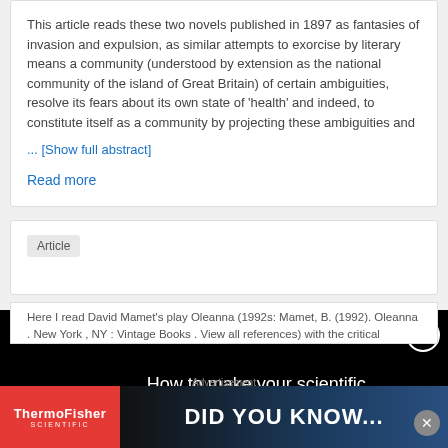This article reads these two novels published in 1897 as fantasies of invasion and expulsion, as similar attempts to exorcise by literary means a community (understood by extension as the national community of the island of Great Britain) of certain ambiguities, resolve its fears about its own state of 'health' and indeed, to constitute itself as a community by projecting these ambiguities and ... [Show full abstract]
Read more
Article
[Figure (screenshot): Advertisement overlay on a black background showing red bracket symbol '[ ]' and white text: 'How to make your scientific brand an industry name with always-on marketing' with a close button (X) in top right corner.]
Here I read David Mamet's play Oleanna (1992s: Mamet, B. (1992). Oleanna . New York , NY : Vintage Books . View all references) with the critical perspectives of Christian theologian Rowan Williams (20008, Williams , R. ( 2000 ) Lost Icons: Reflections on Cultural
Advertisement
[Figure (screenshot): Thermo Fisher Scientific advertisement banner at bottom. Red left panel with 'ThermoFisher SCIENTIFIC' logo and blue gradient panel with bold white text 'DID YOU KNOW...']